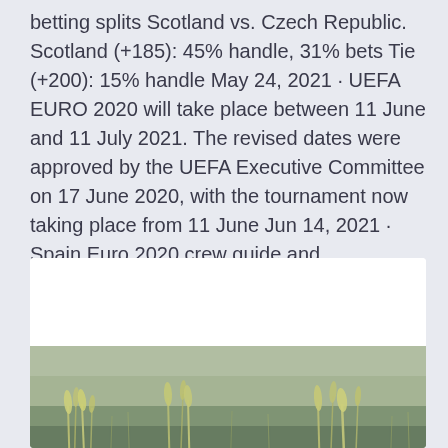betting splits Scotland vs. Czech Republic. Scotland (+185): 45% handle, 31% bets Tie (+200): 15% handle May 24, 2021 · UEFA EURO 2020 will take place between 11 June and 11 July 2021. The revised dates were approved by the UEFA Executive Committee on 17 June 2020, with the tournament now taking place from 11 June Jun 14, 2021 · Spain Euro 2020 crew guide and apparatuses.
[Figure (photo): A photograph of a grassy field with green and golden grass/wheat stems in soft focus, with a light sky background. The image is embedded in a white card/container.]